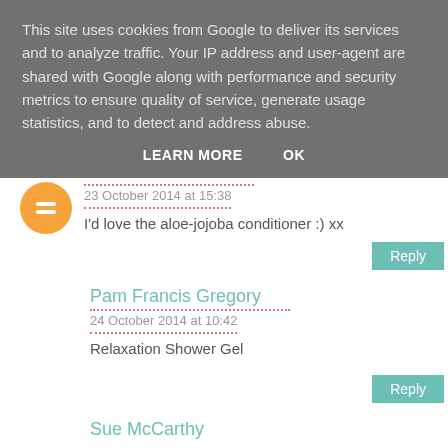This site uses cookies from Google to deliver its services and to analyze traffic. Your IP address and user-agent are shared with Google along with performance and security metrics to ensure quality of service, generate usage statistics, and to detect and address abuse.
LEARN MORE   OK
23 October 2014 at 15:38
I'd love the aloe-jojoba conditioner :) xx
Reply
Pam Francis Gregory
24 October 2014 at 10:42
Relaxation Shower Gel
Reply
Sue McCarthy